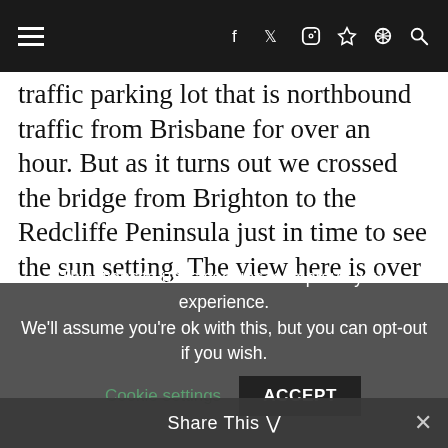navigation header with hamburger menu and social icons (facebook, twitter, instagram, pinterest, search)
traffic parking lot that is northbound traffic from Brisbane for over an hour. But as it turns out we crossed the bridge from Brighton to the Redcliffe Peninsula just in time to see the sun setting. The view here is over the inlet to Kedron Brook and North Pine River. If I had a little more time, there might have been a bit better shot, but with time in traffic we were already running
This website uses cookies to improve your experience. We'll assume you're ok with this, but you can opt-out if you wish. Cookie settings ACCEPT
Share This